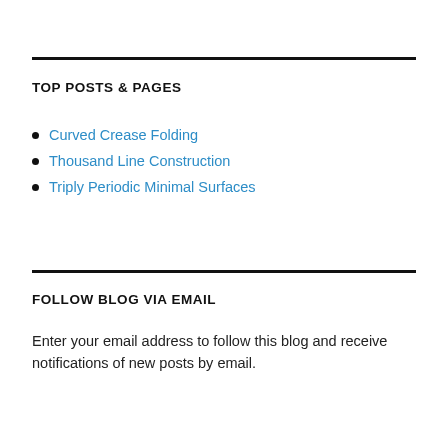TOP POSTS & PAGES
Curved Crease Folding
Thousand Line Construction
Triply Periodic Minimal Surfaces
FOLLOW BLOG VIA EMAIL
Enter your email address to follow this blog and receive notifications of new posts by email.